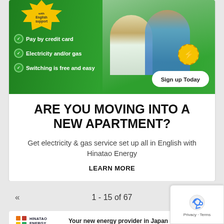[Figure (infographic): Green banner ad for Hinatao Energy showing two people looking at a laptop, with checklist items: Pay by credit card, Electricity and/or gas, Switching is free and easy. Sign up Today button. Yellow badge says 'with English support'.]
ARE YOU MOVING INTO A NEW APARTMENT?
Get electricity & gas service set up all in English with Hinatao Energy
LEARN MORE
1 - 15 of 67
[Figure (logo): Hinatao Energy logo with colorful squares and text HINATAO ENERGY]
Your new energy provider in Japan